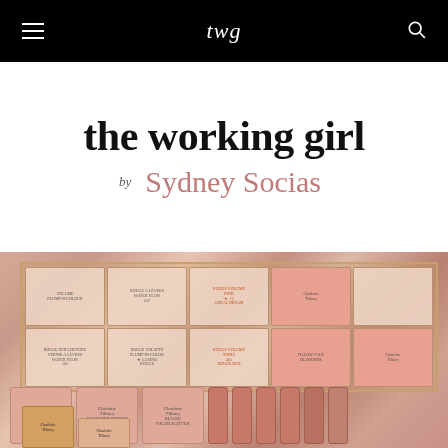twg
the working girl
by Sydney Socias
[Figure (photo): Flat lay photo of Charlotte Tilbury makeup products arranged in a gold/copper organizer tray, including boxes, blushes, and lipsticks in pink and peachy tones]